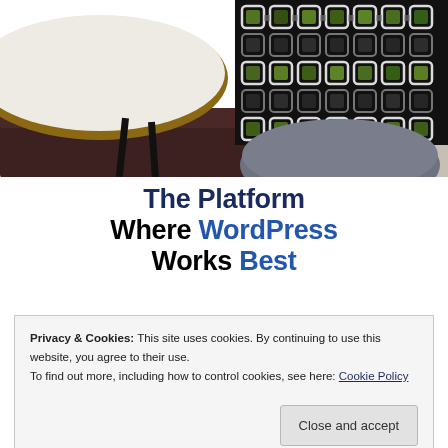[Figure (photo): Interior scene showing a round white table with wooden edge on thin black legs, a geometric black-and-white-and-green patterned fabric/cushion in the background, a gray upholstered chair seat in foreground, and a dark brown sofa, on a light floor.]
The Platform Where WordPress Works Best
Privacy & Cookies: This site uses cookies. By continuing to use this website, you agree to their use.
To find out more, including how to control cookies, see here: Cookie Policy
Close and accept